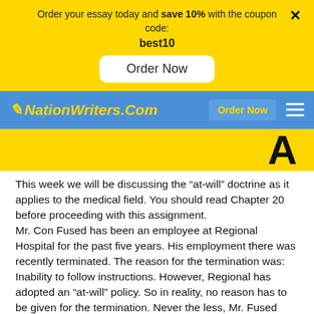Order your essay today and save 10% with the coupon code: best10
[Figure (screenshot): Yellow promo banner with 'Order Now' button and close X]
[Figure (screenshot): NationWriters.Com navigation bar with pencil logo, Order Now link, and hamburger menu]
[Figure (screenshot): Yellow hero image area with partial bold black text visible]
This week we will be discussing the “at-will” doctrine as it applies to the medical field. You should read Chapter 20 before proceeding with this assignment. Mr. Con Fused has been an employee at Regional Hospital for the past five years. His employment there was recently terminated. The reason for the termination was: Inability to follow instructions. However, Regional has adopted an “at-will” policy. So in reality, no reason has to be given for the termination. Never the less, Mr. Fused was very upset at his termination….so upset, that he went to the media with his story.